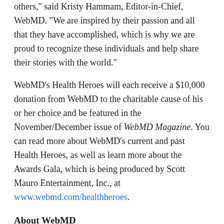others," said Kristy Hammam, Editor-in-Chief, WebMD. "We are inspired by their passion and all that they have accomplished, which is why we are proud to recognize these individuals and help share their stories with the world."
WebMD's Health Heroes will each receive a $10,000 donation from WebMD to the charitable cause of his or her choice and be featured in the November/December issue of WebMD Magazine. You can read more about WebMD's current and past Health Heroes, as well as learn more about the Awards Gala, which is being produced by Scott Mauro Entertainment, Inc., at www.webmd.com/healthheroes.
About WebMD
WebMD Health Corp. (NASDAQ: WBMD) is the leading provider of health information services, serving consumers, physicians,